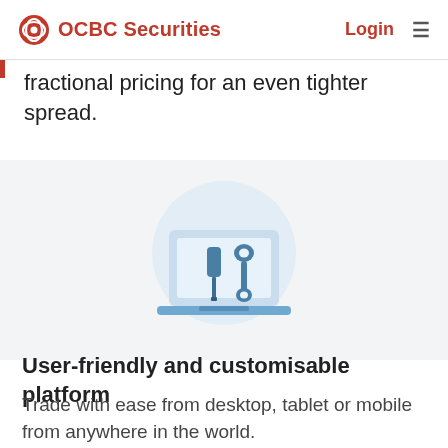OCBC Securities   Login  ≡
fractional pricing for an even tighter spread.
[Figure (illustration): Icon of a laptop with a screwdriver and wrench (tools) on a light blue circular background, representing a user-friendly and customisable platform.]
User-friendly and customisable platform
Trade with ease from desktop, tablet or mobile from anywhere in the world.